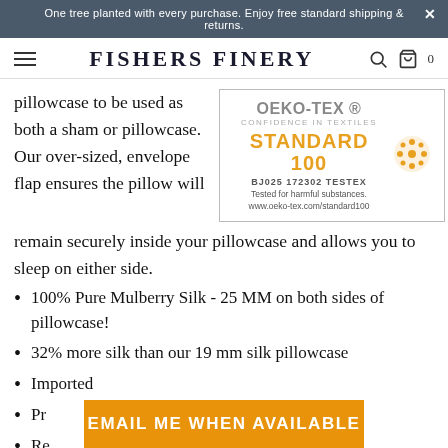One tree planted with every purchase. Enjoy free standard shipping & returns.
FISHERS FINERY
pillowcase to be used as both a sham or pillowcase. Our over-sized, envelope flap ensures the pillow will remain securely inside your pillowcase and allows you to sleep on either side.
[Figure (logo): OEKO-TEX STANDARD 100 certification badge. Text: OEKO-TEX® CONFIDENCE IN TEXTILES STANDARD 100 BJ025 172302 TESTEX. Tested for harmful substances. www.oeko-tex.com/standard100]
100% Pure Mulberry Silk - 25 MM on both sides of pillowcase!
32% more silk than our 19 mm silk pillowcase
Imported
Pr...
Re...
EMAIL ME WHEN AVAILABLE